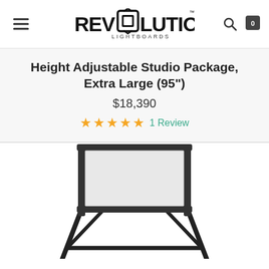Revolution Lightboards — Navigation header with hamburger menu, logo, search and cart icons
Height Adjustable Studio Package, Extra Large (95")
$18,390
★★★★★ 1 Review
[Figure (photo): Product photo of a large height-adjustable studio lightboard/whiteboard on a black metal stand frame, with a light gray writing surface, partially visible from the lower portion of the image.]